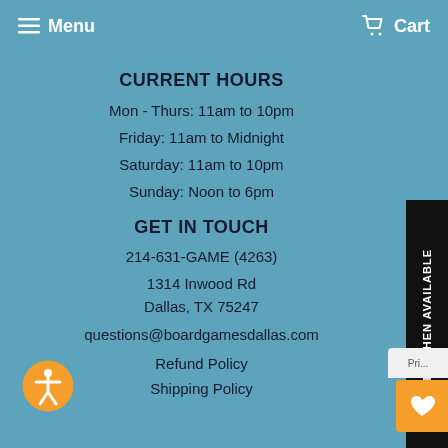Menu  Cart
CURRENT HOURS
Mon - Thurs: 11am to 10pm
Friday: 11am to Midnight
Saturday: 11am to 10pm
Sunday: Noon to 6pm
GET IN TOUCH
214-631-GAME (4263)
1314 Inwood Rd
Dallas, TX 75247
questions@boardgamesdallas.com
Refund Policy
Shipping Policy
[Figure (other): NOTIFY WHEN AVAILABLE vertical sidebar button]
[Figure (other): Accessibility icon - orange circle with person symbol]
[Figure (other): Wishlist heart button - orange]